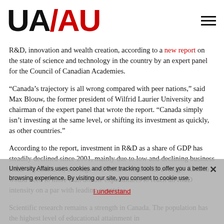UA/AU logo and navigation
R&D, innovation and wealth creation, according to a new report on the state of science and technology in the country by an expert panel for the Council of Canadian Academies.
“Canada’s trajectory is all wrong compared with peer nations,” said Max Blouw, the former president of Wilfrid Laurier University and chairman of the expert panel that wrote the report. “Canada simply isn’t investing at the same level, or shifting its investment as quickly, as other countries.”
According to the report, investment in R&D as a share of GDP has steadily declined since 2001, mainly due to low and declining business R&D expenditures, and lags well behind the OECD average. Canada would need to more than double expenditures to reach an R&D intensity on a par with leading countries.
Scientific research remains a strength in Canada. The population has the highest level of educational attainment in